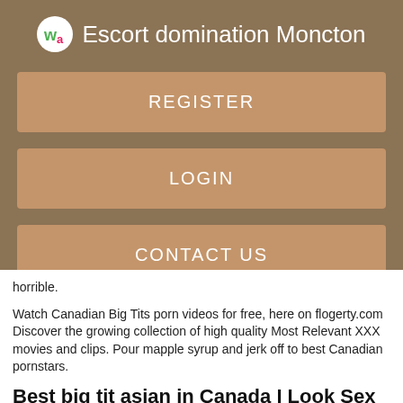Escort domination Moncton
REGISTER
LOGIN
CONTACT US
horrible.
Watch Canadian Big Tits porn videos for free, here on flogerty.com Discover the growing collection of high quality Most Relevant XXX movies and clips. Pour mapple syrup and jerk off to best Canadian pornstars.
Best big tit asian in Canada I Look Sex Tonight